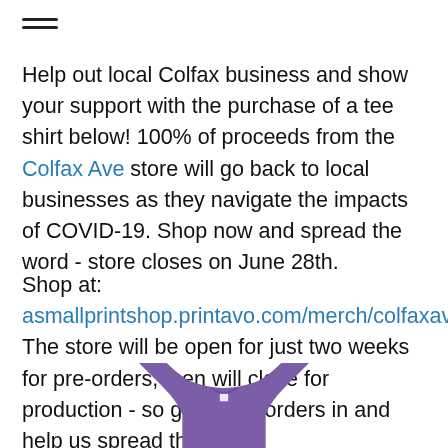[Figure (illustration): Hamburger menu icon (three horizontal lines) in top left corner]
Help out local Colfax business and show your support with the purchase of a tee shirt below! 100% of proceeds from the Colfax Ave store will go back to local businesses as they navigate the impacts of COVID-19. Shop now and spread the word - store closes on June 28th.
Shop at: asmallprintshop.printavo.com/merch/colfaxave
The store will be open for just two weeks for pre-orders, then will close for production - so get those orders in and help us spread the word!
Store powered by A Small Print Shop / Designs donated by Zach Kotel & ArtHouse Design
[Figure (photo): Purple/violet t-shirt partially visible at the bottom of the page]